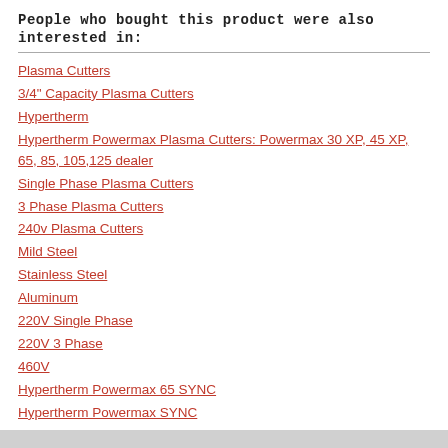People who bought this product were also interested in:
Plasma Cutters
3/4" Capacity Plasma Cutters
Hypertherm
Hypertherm Powermax Plasma Cutters: Powermax 30 XP, 45 XP, 65, 85, 105,125 dealer
Single Phase Plasma Cutters
3 Phase Plasma Cutters
240v Plasma Cutters
Mild Steel
Stainless Steel
Aluminum
220V Single Phase
220V 3 Phase
460V
Hypertherm Powermax 65 SYNC
Hypertherm Powermax SYNC
Hypertherm Powermax 65 vs 65 SYNC